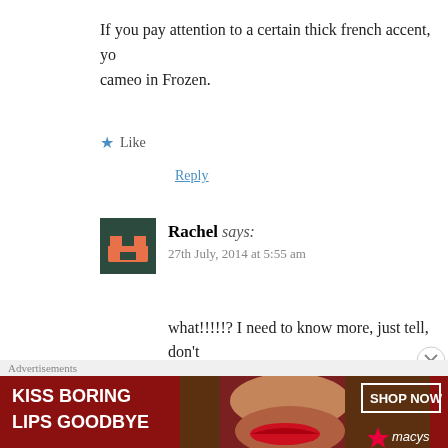If you pay attention to a certain thick french accent, you'll notice a cameo in Frozen.
Like
Reply
Rachel says:
27th July, 2014 at 5:55 am
what!!!!!? I need to know more, just tell, don't
Liked by 1 person
Reply
jeffvsm35@gmail.com says:
Advertisements
[Figure (infographic): Macy's advertisement banner: 'KISS BORING LIPS GOODBYE' with a woman's face and red lips, SHOP NOW button and Macy's star logo]